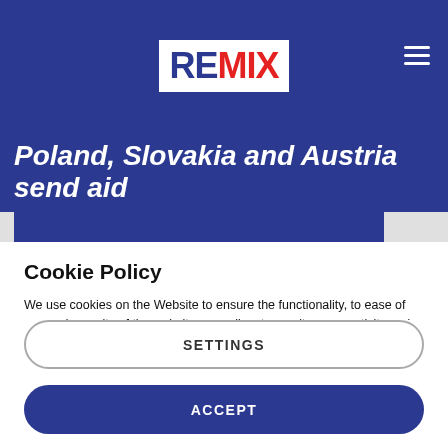REMIX
Poland, Slovakia and Austria send aid
Cookie Policy
We use cookies on the Website to ensure the functionality, to ease of use and security of the website, as well as to monitor user activity and to collect information about your browsing habits in order to make advertising relevant to you and your interests.
Clicking on "Accept" you can allow all cookies. If you would like to reject or customize, please click on "Settings".
Read more: Cookie Policy
SETTINGS
ACCEPT